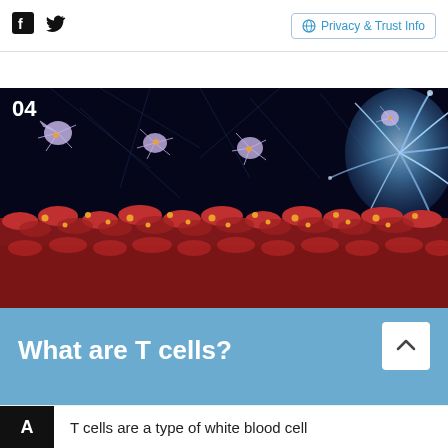Facebook  Twitter  Privacy & Trust Info
[Figure (illustration): 3D scientific illustration of T cells (dendritic/immune cells with spiky projections) floating above red blood cells in a dark blue background. A large glowing blue immune cell is visible in the upper right. Number '04' is displayed in the upper left corner.]
What are T cells?
T cells are a type of white blood cell